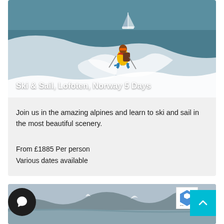[Figure (photo): A skier in a yellow and red jacket carving through deep powder snow with a sailboat visible on a fjord in the background; snowy mountains and blue water.]
Ski & Sail, Lofoten, Norway 5 Days
Join us in the amazing alpines and learn to ski and sail in the most beautiful scenery.
From £1885 Per person
Various dates available
[Figure (photo): Scenic fjord landscape with snow-capped mountains and calm water, partly visible at the bottom of the page.]